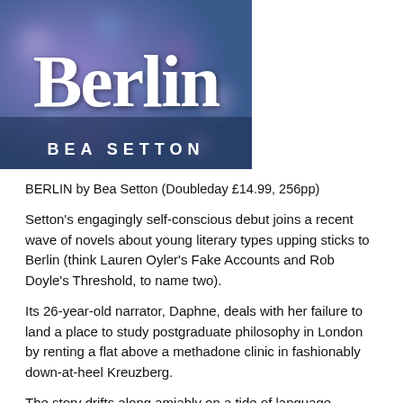[Figure (illustration): Book cover for 'Berlin' by Bea Setton. Large bold white serif text 'Berlin' over a blurred purple and blue bokeh background. Below in smaller spaced white uppercase letters: 'BEA SETTON'.]
BERLIN by Bea Setton (Doubleday £14.99, 256pp)
Setton's engagingly self-conscious debut joins a recent wave of novels about young literary types upping sticks to Berlin (think Lauren Oyler's Fake Accounts and Rob Doyle's Threshold, to name two).
Its 26-year-old narrator, Daphne, deals with her failure to land a place to study postgraduate philosophy in London by renting a flat above a methadone clinic in fashionably down-at-heel Kreuzberg.
The story drifts along amiably on a tide of language classes and dating-app hook-ups, as a fling with a DJ